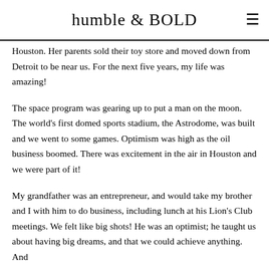humble & BOLD
Houston. Her parents sold their toy store and moved down from Detroit to be near us. For the next five years, my life was amazing!
The space program was gearing up to put a man on the moon. The world's first domed sports stadium, the Astrodome, was built and we went to some games. Optimism was high as the oil business boomed. There was excitement in the air in Houston and we were part of it!
My grandfather was an entrepreneur, and would take my brother and I with him to do business, including lunch at his Lion's Club meetings. We felt like big shots! He was an optimist; he taught us about having big dreams, and that we could achieve anything. And